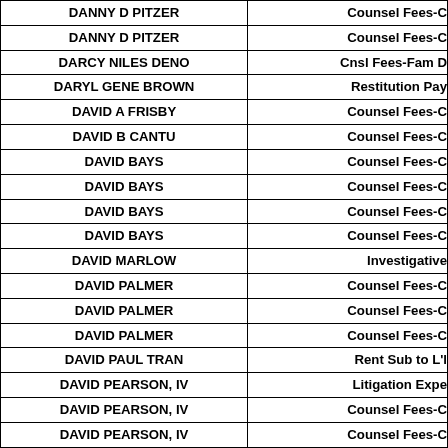| Name | Category |
| --- | --- |
| DANNY D PITZER | Counsel Fees-C |
| DANNY D PITZER | Counsel Fees-C |
| DARCY NILES DENO | Cnsl Fees-Fam D |
| DARYL GENE BROWN | Restitution Pay |
| DAVID A FRISBY | Counsel Fees-C |
| DAVID B CANTU | Counsel Fees-C |
| DAVID BAYS | Counsel Fees-C |
| DAVID BAYS | Counsel Fees-C |
| DAVID BAYS | Counsel Fees-C |
| DAVID BAYS | Counsel Fees-C |
| DAVID MARLOW | Investigative |
| DAVID PALMER | Counsel Fees-C |
| DAVID PALMER | Counsel Fees-C |
| DAVID PALMER | Counsel Fees-C |
| DAVID PAUL TRAN | Rent Sub to L'l |
| DAVID PEARSON, IV | Litigation Expe |
| DAVID PEARSON, IV | Counsel Fees-C |
| DAVID PEARSON, IV | Counsel Fees-C |
| DAVID RICHARDS | Cnsl Fees-Crim A |
| DBC FAMILY LAW | Counsel Fees - |
| DCTC SPHINX DEVELOPMENT LP | Rental Assista |
| DEAN MIYAZONO | Counsel Fees-C |
| DELTA FACILITY SERVICES LLC | Building Mainter |